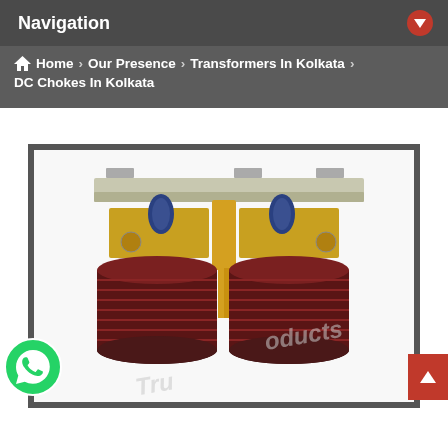Navigation
Home > Our Presence > Transformers In Kolkata > DC Chokes In Kolkata
[Figure (photo): Photo of DC choke / transformer device with two cylindrical coil windings in dark red/brown, mounted on a metal frame with connectors on top, watermarked with 'Tru... oducts']